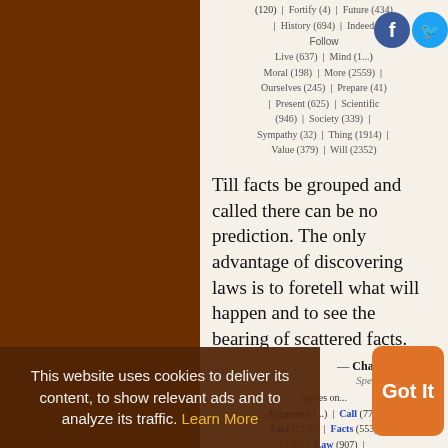(120) | Fortify (4) | Future (434) | History (694) | Indeed Follow Live (637) | Mind (...) | Moral (198) | More (2559) | Ourselves (245) | Prepare (41) | Present (625) | Scientific (946) | Society (339) | Sympathy (32) | Thing (1914) | Value (379) | Will (2352)
Till facts be grouped and called there can be no prediction. The only advantage of discovering laws is to foretell what will happen and to see the bearing of scattered facts.
— Charles Darwin
Species Notebook
quotes on... Argument (...) | Call (772) | Fact (1236) | Facts (553) | Group (276) | Law (907) | Prediction (87) | See (1082) | Will (...)
This website uses cookies to deliver its content, to show relevant ads and to analyze its traffic. Learn More